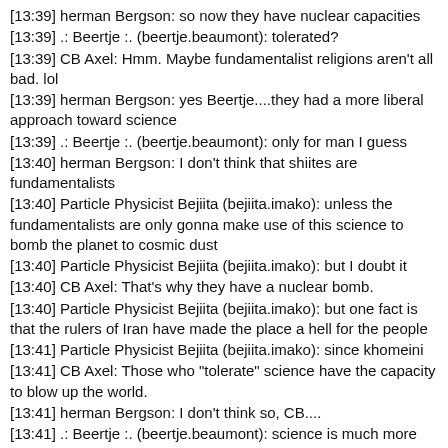[13:39] herman Bergson: so now they have nuclear capacities
[13:39] .: Beertje :. (beertje.beaumont): tolerated?
[13:39] CB Axel: Hmm. Maybe fundamentalist religions aren't all bad. lol
[13:39] herman Bergson: yes Beertje....they had a more liberal approach toward science
[13:39] .: Beertje :. (beertje.beaumont): only for man I guess
[13:40] herman Bergson: I don't think that shiites are fundamentalists
[13:40] Particle Physicist Bejiita (bejiita.imako): unless the fundamentalists are only gonna make use of this science to bomb the planet to cosmic dust
[13:40] Particle Physicist Bejiita (bejiita.imako): but I doubt it
[13:40] CB Axel: That's why they have a nuclear bomb.
[13:40] Particle Physicist Bejiita (bejiita.imako): but one fact is that the rulers of Iran have made the place a hell for the people
[13:41] Particle Physicist Bejiita (bejiita.imako): since khomeini
[13:41] CB Axel: Those who "tolerate" science have the capacity to blow up the world.
[13:41] herman Bergson: I don't think so, CB....
[13:41] .: Beertje :. (beertje.beaumont): science is much more than making bombs